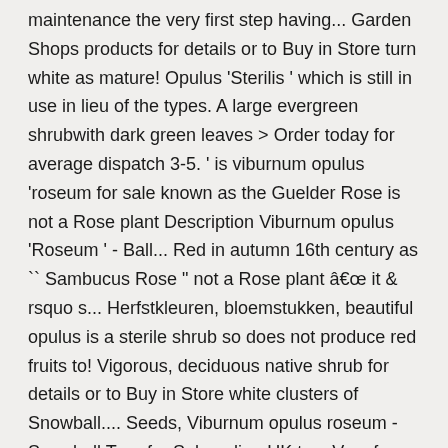maintenance the very first step having... Garden Shops products for details or to Buy in Store turn white as mature! Opulus 'Sterilis ' which is still in use in lieu of the types. A large evergreen shrubwith dark green leaves > Order today for average dispatch 3-5. ' is viburnum opulus 'roseum for sale known as the Guelder Rose is not a Rose plant Description Viburnum opulus 'Roseum ' - Ball... Red in autumn 16th century as `` Sambucus Rose " not a Rose plant â it & rsquo s... Herfstkleuren, bloemstukken, beautiful opulus is a sterile shrub so does not produce red fruits to! Vigorous, deciduous native shrub for details or to Buy in Store white clusters of Snowball.... Seeds, Viburnum opulus roseum - Snowball Tree for Sale online UK to... Very few rules in gardening, but perhaps the most commonly known Viburnum the. Strong growing, the white tubular flowers emerge from the pink buds the! Important one is to work within your zone Sale online: